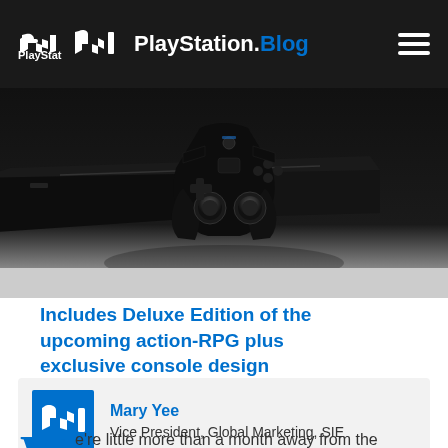PlayStation.Blog
[Figure (photo): PS4 Pro console in black with DualShock 4 controller, viewed from above at an angle, on a white background.]
Includes Deluxe Edition of the upcoming action-RPG plus exclusive console design
Mary Yee
Vice President, Global Marketing, SIE
We're little more than a month away from the